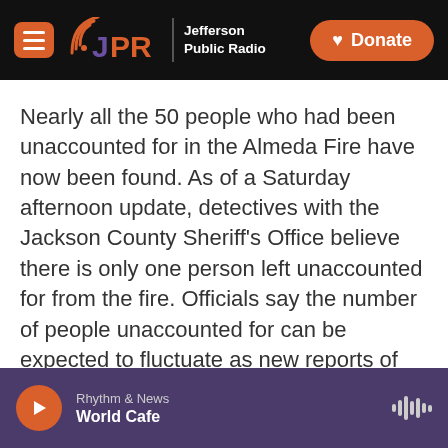JPR Jefferson Public Radio | Donate
Nearly all the 50 people who had been unaccounted for in the Almeda Fire have now been found. As of a Saturday afternoon update, detectives with the Jackson County Sheriff's Office believe there is only one person left unaccounted for from the fire. Officials say the number of people unaccounted for can be expected to fluctuate as new reports of missing people come in.
The effort to locate the missing and to search for other victims of the fire is continuing.
Rhythm & News | World Cafe